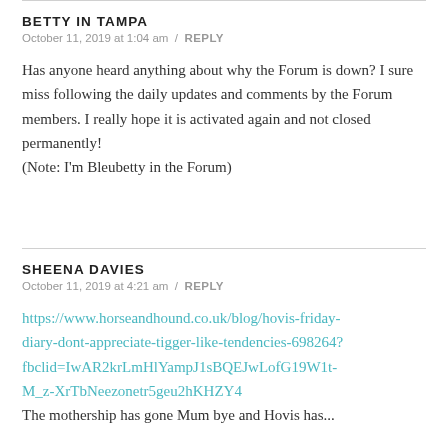BETTY IN TAMPA
October 11, 2019 at 1:04 am / REPLY
Has anyone heard anything about why the Forum is down? I sure miss following the daily updates and comments by the Forum members. I really hope it is activated again and not closed permanently! (Note: I'm Bleubetty in the Forum)
SHEENA DAVIES
October 11, 2019 at 4:21 am / REPLY
https://www.horseandhound.co.uk/blog/hovis-friday-diary-dont-appreciate-tigger-like-tendencies-698264?fbclid=IwAR2krLmHlYampJ1sBQEJwLofG19W1t-M_z-XrTbNeezonetr5geu2hKHZY4
The mothership has gone Mum bye and Hovis has...